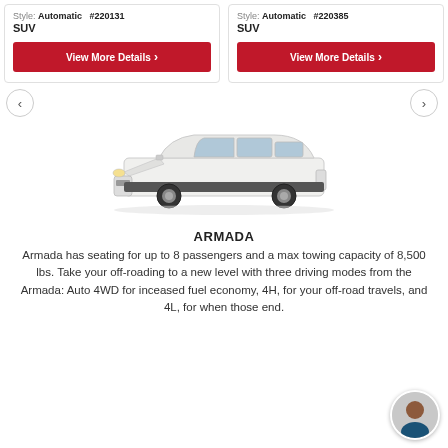Style: Automatic #220131 SUV
Style: Automatic #220385 SUV
View More Details
View More Details
[Figure (photo): Side profile of a white Nissan Armada SUV]
ARMADA
Armada has seating for up to 8 passengers and a max towing capacity of 8,500 lbs. Take your off-roading to a new level with three driving modes from the Armada: Auto 4WD for inceased fuel economy, 4H, for your off-road travels, and 4L, for when those end.